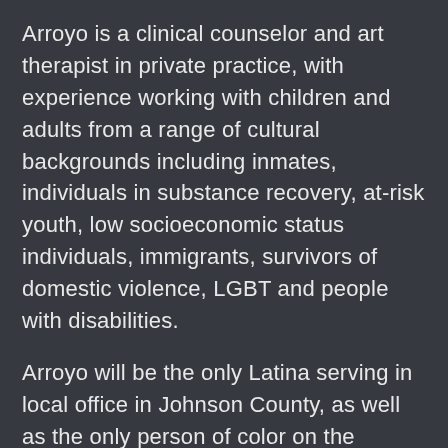Arroyo is a clinical counselor and art therapist in private practice, with experience working with children and adults from a range of cultural backgrounds including inmates, individuals in substance recovery, at-risk youth, low socioeconomic status individuals, immigrants, survivors of domestic violence, LGBT and people with disabilities.
Arroyo will be the only Latina serving in local office in Johnson County, as well as the only person of color on the Lenexa City Council.